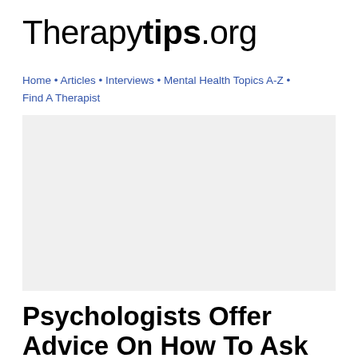Therapytips.org
Home • Articles • Interviews • Mental Health Topics A-Z • Find A Therapist
[Figure (other): Gray advertisement/banner placeholder box]
Psychologists Offer Advice On How To Ask